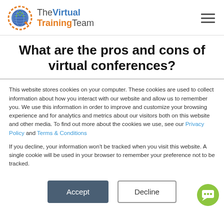[Figure (logo): The Virtual Training Team logo with globe icon]
What are the pros and cons of virtual conferences?
This website stores cookies on your computer. These cookies are used to collect information about how you interact with our website and allow us to remember you. We use this information in order to improve and customize your browsing experience and for analytics and metrics about our visitors both on this website and other media. To find out more about the cookies we use, see our Privacy Policy and Terms & Conditions
If you decline, your information won't be tracked when you visit this website. A single cookie will be used in your browser to remember your preference not to be tracked.